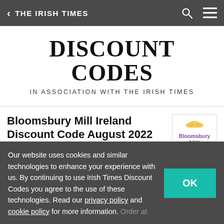< THE IRISH TIMES
DISCOUNT CODES
IN ASSOCIATION WITH THE IRISH TIMES
Bloomsbury Mill Ireland Discount Code August 2022
Visit Bloomsbury Mill
All (5)  Coupons (2)  Sales (1)
Our website uses cookies and similar technologies to enhance your experience with us. By continuing to use Irish Times Discount Codes you agree to the use of these technologies. Read our privacy policy and cookie policy for more information.
Active Bloomsbury Mill Ireland Promo & Discount Voucher Codes August 2022
Verified 10% On Your Order at